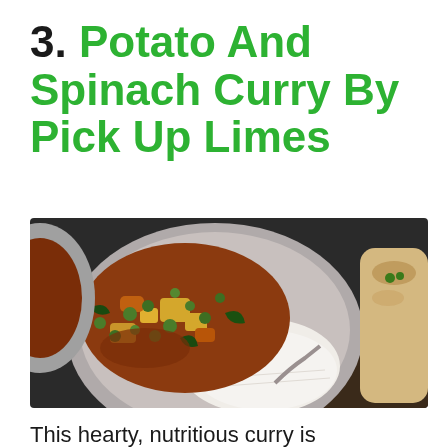3. Potato And Spinach Curry By Pick Up Limes
[Figure (photo): A white bowl filled with a hearty vegetable curry (potatoes, peas, carrots, spinach in tomato sauce) served alongside white rice with a spoon, placed on a dark surface. A second bowl and what appears to be naan bread are partially visible at the edges.]
This hearty, nutritious curry is packed with veggies like spinach...